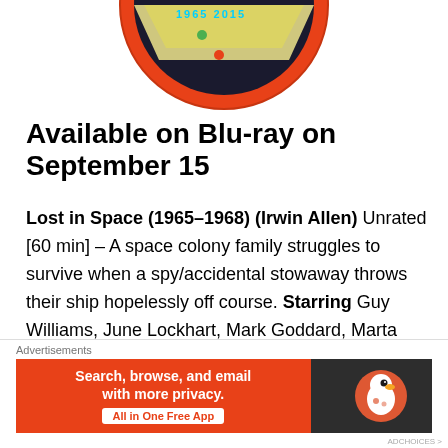[Figure (illustration): Bottom portion of a circular mission patch/badge with orange border, yellow chevron stripes, and small colored dots on dark background. Text partially visible: '1965 2015']
Available on Blu-ray on September 15
Lost in Space (1965–1968) (Irwin Allen) Unrated [60 min] – A space colony family struggles to survive when a spy/accidental stowaway throws their ship hopelessly off course. Starring Guy Williams, June Lockhart, Mark Goddard, Marta Kristen, Bill Mumy, Angela Cartwright, and Jonathan Harris
Advertisements
Advertisements
[Figure (screenshot): DuckDuckGo advertisement banner: orange left panel with text 'Search, browse, and email with more privacy. All in One Free App', dark right panel with DuckDuckGo duck logo]